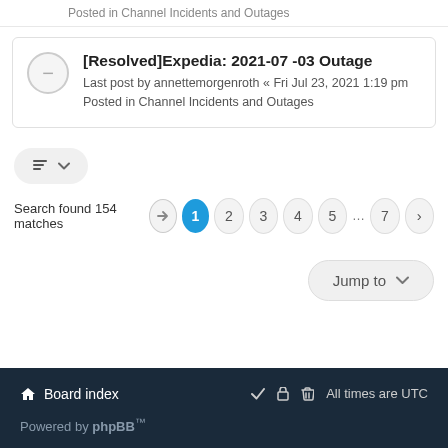Posted in Channel Incidents and Outages
[Resolved]Expedia: 2021-07 -03 Outage
Last post by annettemorgenroth « Fri Jul 23, 2021 1:19 pm
Posted in Channel Incidents and Outages
Search found 154 matches
Jump to
Board index  ✓  🔒  🗑  All times are UTC
Powered by phpBB™